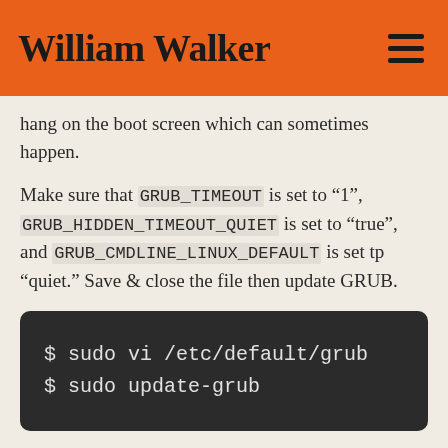William Walker
hang on the boot screen which can sometimes happen.
Make sure that GRUB_TIMEOUT is set to “1”, GRUB_HIDDEN_TIMEOUT_QUIET is set to “true”, and GRUB_CMDLINE_LINUX_DEFAULT is set tp “quiet.” Save & close the file then update GRUB.
$ sudo vi /etc/default/grub
$ sudo update-grub
Packaging the Box
These commands can greatly reduce the size of the